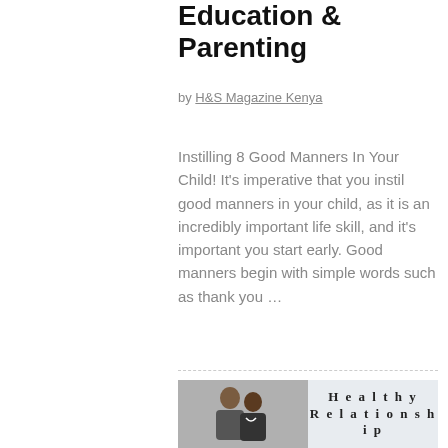Education & Parenting
by H&S Magazine Kenya
Instilling 8 Good Manners In Your Child! It's imperative that you instil good manners in your child, as it is an incredibly important life skill, and it's important you start early. Good manners begin with simple words such as thank you …
[Figure (photo): Bottom section showing a photo of two people smiling at a computer on the left, and a light blue panel with the text 'Healthy Relationship' on the right]